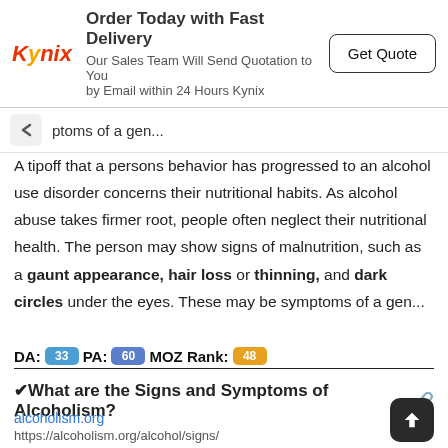[Figure (infographic): Kynix advertisement banner with logo, text 'Order Today with Fast Delivery', subtext, and Get Quote button]
ptoms of a gen...
A tipoff that a persons behavior has progressed to an alcohol use disorder concerns their nutritional habits. As alcohol abuse takes firmer root, people often neglect their nutritional health. The person may show signs of malnutrition, such as a gaunt appearance, hair loss or thinning, and dark circles under the eyes. These may be symptoms of a gen...
DA: 33  PA: 60  MOZ Rank: 48
✔What are the Signs and Symptoms of Alcoholism?
alcoholism.org
https://alcoholism.org/alcohol/signs/
Feb 07, 2022 · These include: Distorted vision and hearing Eu Confidence Dizziness Difficulty breathing Sweating Nausea Vomiting Upset stomach Diarrhea Erectile dysfunction